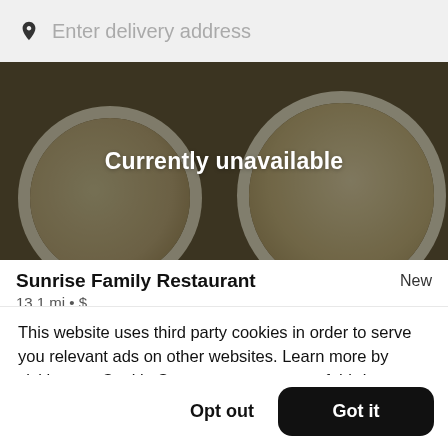Enter delivery address
[Figure (photo): Restaurant hero image showing food plates with a dark overlay and text 'Currently unavailable']
Sunrise Family Restaurant
13.1 mi • $
This website uses third party cookies in order to serve you relevant ads on other websites. Learn more by visiting our Cookie Statement, or opt out of third party ad cookies using the button below.
Opt out
Got it